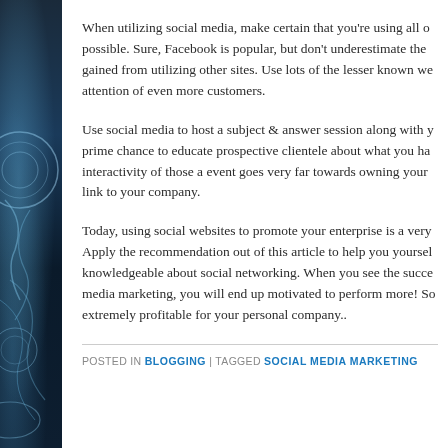When utilizing social media, make certain that you're using all o possible. Sure, Facebook is popular, but don't underestimate the gained from utilizing other sites. Use lots of the lesser known we attention of even more customers.
Use social media to host a subject & answer session along with y prime chance to educate prospective clientele about what you ha interactivity of those a event goes very far towards owning your link to your company.
Today, using social websites to promote your enterprise is a very Apply the recommendation out of this article to help you yoursel knowledgeable about social networking. When you see the succe media marketing, you will end up motivated to perform more! So extremely profitable for your personal company..
POSTED IN BLOGGING | TAGGED SOCIAL MEDIA MARKETING